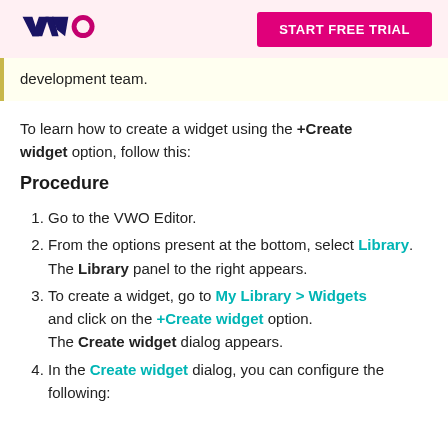VWO | START FREE TRIAL
development team.
To learn how to create a widget using the +Create widget option, follow this:
Procedure
Go to the VWO Editor.
From the options present at the bottom, select Library.
The Library panel to the right appears.
To create a widget, go to My Library > Widgets and click on the +Create widget option.
The Create widget dialog appears.
In the Create widget dialog, you can configure the following: